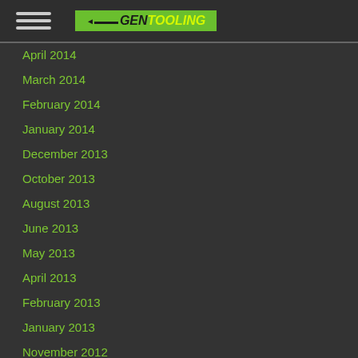GenTooling navigation header with hamburger menu and logo
April 2014
March 2014
February 2014
January 2014
December 2013
October 2013
August 2013
June 2013
May 2013
April 2013
February 2013
January 2013
November 2012
October 2012
September 2012
August 2012
June 2012